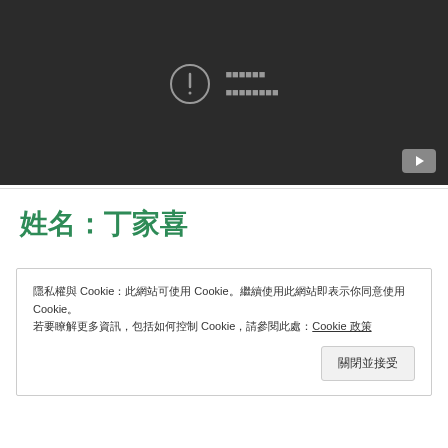[Figure (screenshot): Dark video player block showing an error icon (circle with exclamation mark) and garbled/placeholder text in grey, with a YouTube button in the bottom right corner]
姓名：丁家喜
隱私權與 Cookie：此網站可使用 Cookie。繼續使用此網站即表示你同意使用 Cookie。
若要瞭解更多資訊，包括如何控制 Cookie，請參閱此處：Cookie 政策
關閉並接受